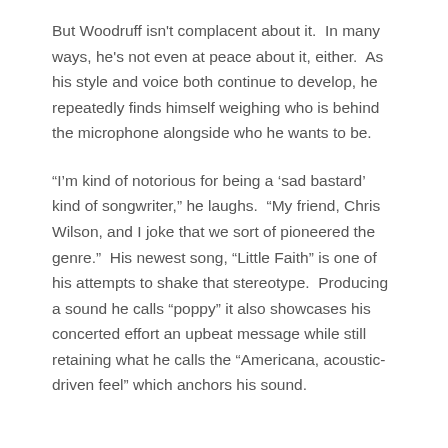But Woodruff isn't complacent about it.  In many ways, he's not even at peace about it, either.  As his style and voice both continue to develop, he repeatedly finds himself weighing who is behind the microphone alongside who he wants to be.
“I’m kind of notorious for being a ‘sad bastard’ kind of songwriter,” he laughs.  “My friend, Chris Wilson, and I joke that we sort of pioneered the genre.”  His newest song, “Little Faith” is one of his attempts to shake that stereotype.  Producing a sound he calls “poppy” it also showcases his concerted effort an upbeat message while still retaining what he calls the “Americana, acoustic-driven feel” which anchors his sound.